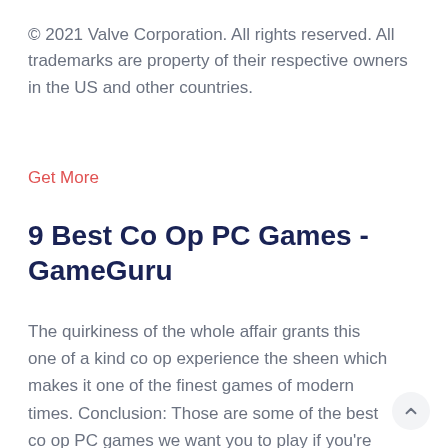© 2021 Valve Corporation. All rights reserved. All trademarks are property of their respective owners in the US and other countries.
Get More
9 Best Co Op PC Games - GameGuru
The quirkiness of the whole affair grants this one of a kind co op experience the sheen which makes it one of the finest games of modern times. Conclusion: Those are some of the best co op PC games we want you to play if you're looking for such titles.